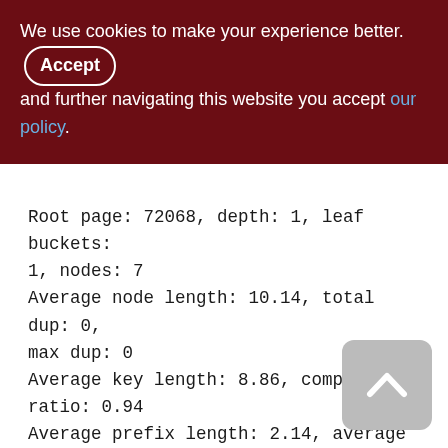We use cookies to make your experience better. By accepting and further navigating this website you accept our policy.
Root page: 72068, depth: 1, leaf buckets: 1, nodes: 7
Average node length: 10.14, total dup: 0, max dup: 0
Average key length: 8.86, compression ratio: 0.94
Average prefix length: 2.14, average data length: 6.14
Clustering factor: 1, ratio: 0.14
Fill distribution:
0 - 19% = 1
20 - 39% = 0
40 - 59% = 0